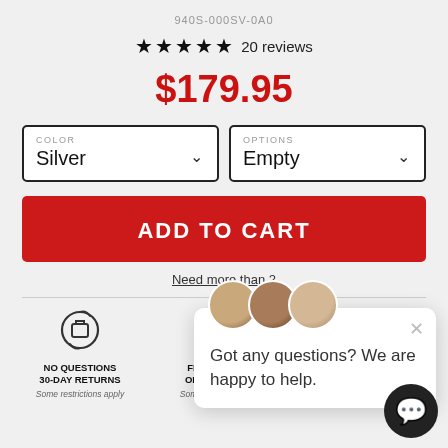940S-000SV-0A0
★★★★★ 20 reviews
$179.95
COLOR Silver
OPTIONS Empty
ADD TO CART
Need more than 2
Got any questions? We are happy to help.
NO QUESTIONS 30-DAY RETURNS
Some restrictions apply
FREE SHIPPING ON ALL ORDERS
Some restrictions apply
LIFETIME LI... WARRAN...
On NANUKca...